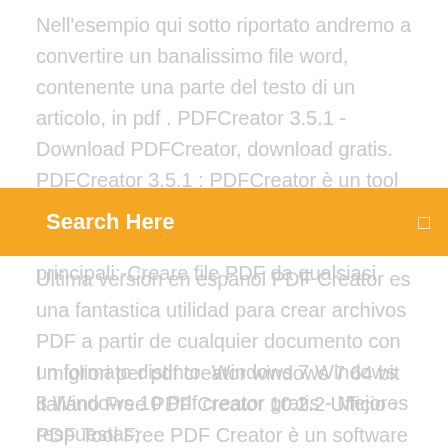Nell'esempio qui sotto riportato andremo a convertire un banalissimo file word, contenente una parte del testo di un articolo, in pdf . PDFCreator 3.5.1 - Download PDFCreator, download gratis. PDFCreator 3.5.1 : PDFCreator è un tool gratuito per creare file PDF da quasi ogni applicazione di Windows. Caratteristiche principali:-Creare file PDF da qualsiasi
Search Here
Ultima version en espanol PDF Creator es una fantastica utilidad para crear archivos PDF a partir de cualquier documento con un formato distinto. Windows 7 Windows 8 Windows 10 Pdf creator gratis - Mejores respuestas;
I migliori per pdf creator windows 7 64 bit italiano Free PDF Creator 10.2.2 Ufficio › PDF Tool Free PDF Creator è un software che permette di creare documenti PDF a partire da oltre. Scaricare - Software gratis PDF - CCM BullZip PDF Printer Free. La creazione di un documento PDF non è sempre facile e